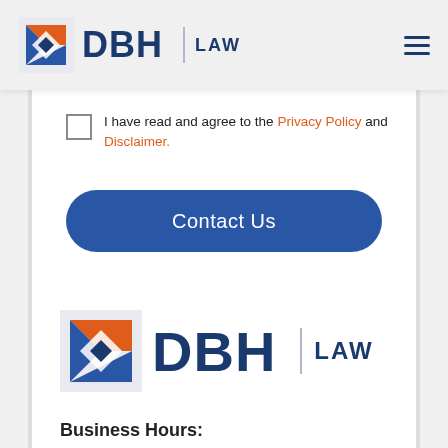[Figure (logo): DBH LAW logo with geometric arrow icon in red/orange and blue, in the page header navigation bar]
I have read and agree to the Privacy Policy and Disclaimer.
Contact Us
[Figure (logo): DBH LAW logo with geometric arrow icon in red/orange and blue, in the page footer area]
Business Hours: